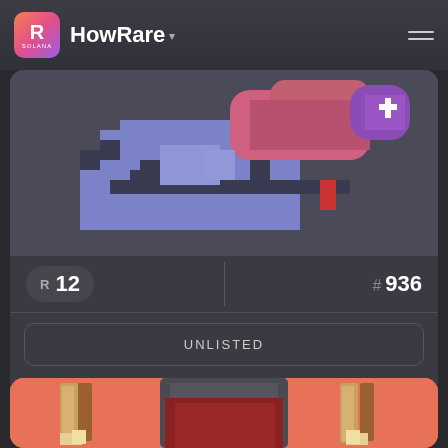HowRare
[Figure (screenshot): Pixel art NFT of a blue/purple creature lying down with pink hair and a plus symbol, on a dark background]
R 12
# 936
UNLISTED
NO SALE HISTORY
[Figure (screenshot): Pixel art NFT of a Viking helmet with horns on a coral/salmon colored background]